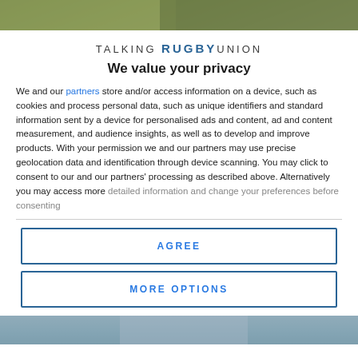[Figure (photo): Top portion of a rugby-related photo, showing green/outdoor background, partially visible at top of modal]
TALKING RUGBY UNION
We value your privacy
We and our partners store and/or access information on a device, such as cookies and process personal data, such as unique identifiers and standard information sent by a device for personalised ads and content, ad and content measurement, and audience insights, as well as to develop and improve products. With your permission we and our partners may use precise geolocation data and identification through device scanning. You may click to consent to our and our partners' processing as described above. Alternatively you may access more detailed information and change your preferences before consenting
AGREE
MORE OPTIONS
[Figure (photo): Bottom portion of a rugby-related photo, partially visible at bottom of page]